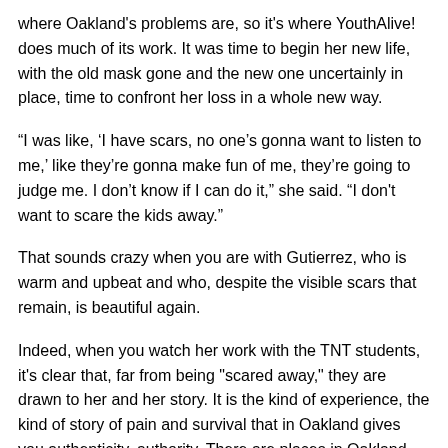where Oakland's problems are, so it's where YouthAlive! does much of its work. It was time to begin her new life, with the old mask gone and the new one uncertainly in place, time to confront her loss in a whole new way.
“I was like, ‘I have scars, no one’s gonna want to listen to me,’ like they’re gonna make fun of me, they’re going to judge me. I don’t know if I can do it,” she said. “I don't want to scare the kids away.”
That sounds crazy when you are with Gutierrez, who is warm and upbeat and who, despite the visible scars that remain, is beautiful again.
Indeed, when you watch her work with the TNT students, it's clear that, far from being "scared away," they are drawn to her and her story. It is the kind of experience, the kind of story of pain and survival that in Oakland gives you authenticity, authority. There are places in Oakland where a scar, physical or emotional, speaks louder than a badge, louder than a college degree, louder than a pulpit.